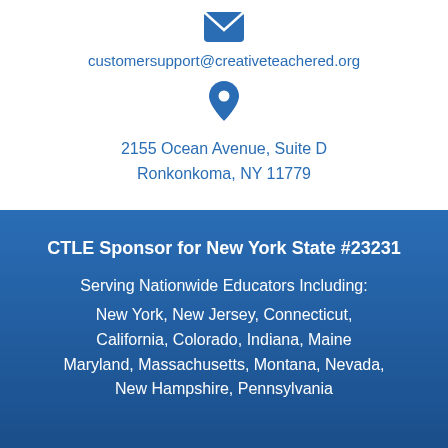[Figure (illustration): Email envelope icon in blue at the top of the page]
customersupport@creativeteachered.org
[Figure (illustration): Location pin icon in blue]
2155 Ocean Avenue, Suite D
Ronkonkoma, NY 11779
CTLE Sponsor for New York State #23231
Serving Nationwide Educators Including:
New York, New Jersey, Connecticut, California, Colorado, Indiana, Maine Maryland, Massachusetts, Montana, Nevada, New Hampshire, Pennsylvania